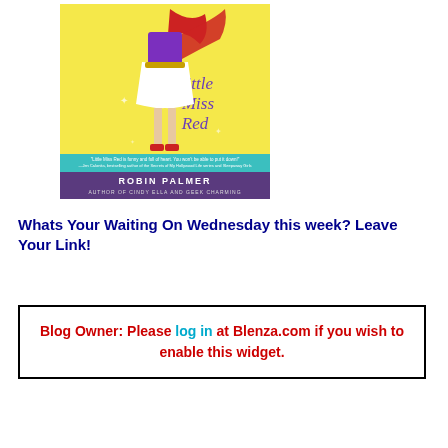[Figure (illustration): Book cover of 'Little Miss Red' by Robin Palmer. Shows a girl in a purple top, white skirt, red heels, and red scarf on a yellow background with the title in purple cursive text and author name at the bottom.]
Whats Your Waiting On Wednesday this week? Leave Your Link!
Blog Owner: Please log in at Blenza.com if you wish to enable this widget.